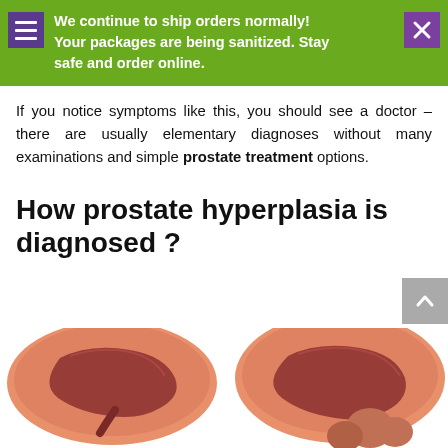We continue to ship orders normally! Your packages are being sanitized. Stay safe and order online.
If you notice symptoms like this, you should see a doctor – there are usually elementary diagnoses without many examinations and simple prostate treatment options.
How prostate hyperplasia is diagnosed ?
[Figure (illustration): Medical illustration showing two cross-sectional anatomical diagrams of the prostate gland, side by side, depicting normal versus enlarged prostate conditions.]